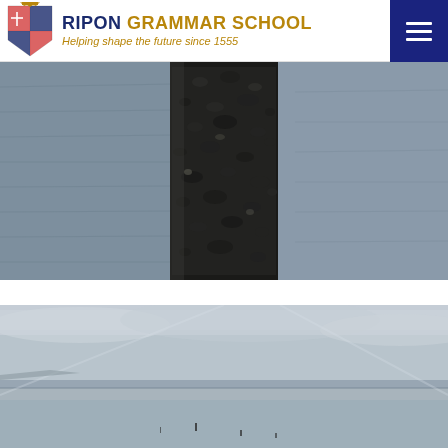RIPON GRAMMAR SCHOOL – Helping shape the future since 1555
[Figure (photo): Close-up of a dark, barnacle-encrusted wooden post or pillar rising from water, with calm grey water visible in the background.]
[Figure (photo): Wide coastal beach scene with low tide, grey cloudy sky, flat wet sand stretching into the distance, with small figures of people visible on the beach.]